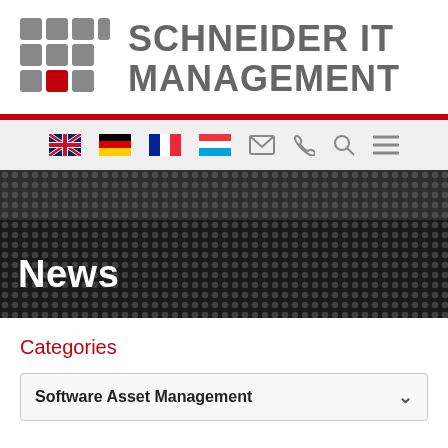[Figure (logo): Schneider IT Management logo with grid icon and text]
[Figure (screenshot): Navigation bar with language flags (UK, Germany, France, Luxembourg) and icons for email, phone, search, menu]
[Figure (photo): Dark dotted/halftone hero banner with 'News' title in white bold text]
Categories
Software Asset Management